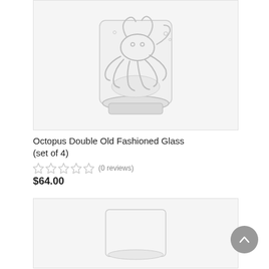[Figure (photo): Photo of an etched glass tumbler with an octopus design, shown on a white background]
Octopus Double Old Fashioned Glass (set of 4)
[Figure (other): Five empty star rating icons (grey/unfilled) indicating 0 reviews]
(0 reviews)
$64.00
[Figure (photo): Partial photo of a plain clear glass tumbler, cut off at bottom of page]